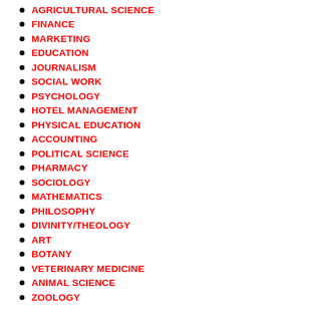AGRICULTURAL SCIENCE
FINANCE
MARKETING
EDUCATION
JOURNALISM
SOCIAL WORK
PSYCHOLOGY
HOTEL MANAGEMENT
PHYSICAL EDUCATION
ACCOUNTING
POLITICAL SCIENCE
PHARMACY
SOCIOLOGY
MATHEMATICS
PHILOSOPHY
DIVINITY/THEOLOGY
ART
BOTANY
VETERINARY MEDICINE
ANIMAL SCIENCE
ZOOLOGY